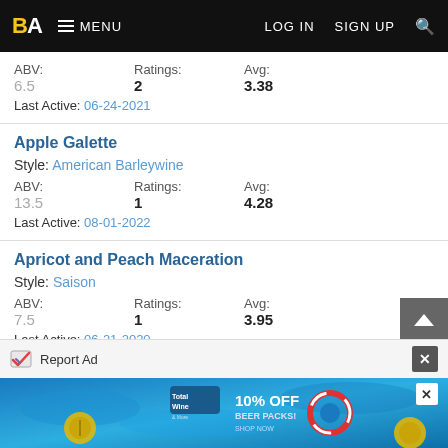BA MENU | LOG IN SIGN UP
ABV: 6.5  Ratings: 2  Avg: 3.38  Last Active: 06-24-2021
Apple Galette
Style: American Barleywine
ABV: 13.5  Ratings: 1  Avg: 4.28  Last Active: 08-01-2022
Apricot and Peach Maceration
Style: Saison
ABV: 7.5  Ratings: 1  Avg: 3.95  Last Active: 06-21-2020
Report Ad
[Figure (screenshot): Total Wine advertisement banner with 10% OFF Beer Packs promotional offer, blue water background with pool float decorations]